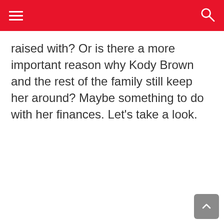raised with? Or is there a more important reason why Kody Brown and the rest of the family still keep her around? Maybe something to do with her finances. Let’s take a look.